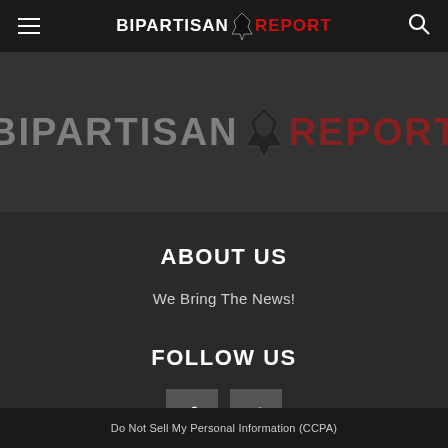BIPARTISAN REPORT
[Figure (logo): Bipartisan Report logo with donkey/elephant silhouette icon, large watermark version on dark background]
ABOUT US
We Bring The News!
FOLLOW US
[Figure (infographic): Facebook and Twitter social media icon buttons]
Do Not Sell My Personal Information (CCPA)